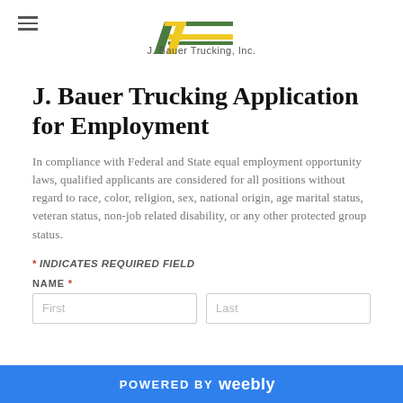J. Bauer Trucking, Inc.
J. Bauer Trucking Application for Employment
In compliance with Federal and State equal employment opportunity laws, qualified applicants are considered for all positions without regard to race, color, religion, sex, national origin, age marital status, veteran status, non-job related disability, or any other protected group status.
* INDICATES REQUIRED FIELD
NAME *
POWERED BY weebly